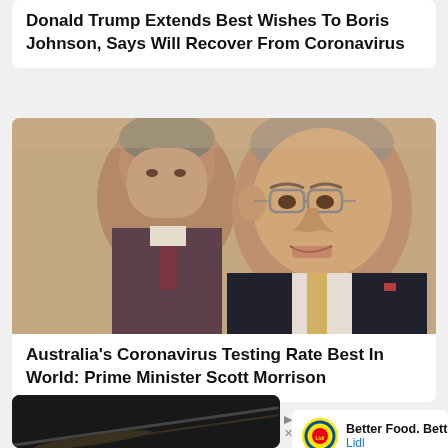Donald Trump Extends Best Wishes To Boris Johnson, Says Will Recover From Coronavirus
[Figure (photo): Two men in suits, one speaking at a press conference (Australian Prime Minister Scott Morrison in foreground with glasses, another man blurred in background)]
Australia's Coronavirus Testing Rate Best In World: Prime Minister Scott Morrison
[Figure (photo): Dark image, partially visible]
Better Food. Bettered Lidl